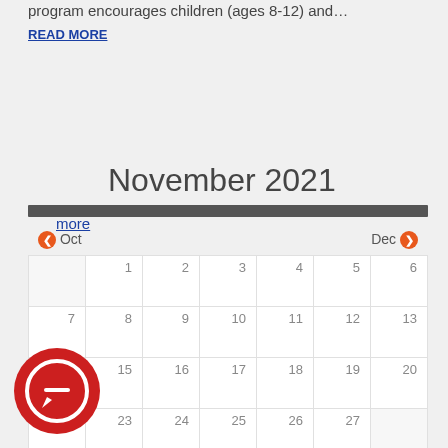History Mystery program on Saturday, September 14. This is a program encourages children (ages 8-12) and…
READ MORE
more
November 2021
[Figure (other): Calendar navigation bar with Oct (previous) and Dec (next) arrows, followed by a monthly calendar grid for November 2021 showing dates 1-30]
[Figure (other): Red circular chat/message icon in the bottom left corner]